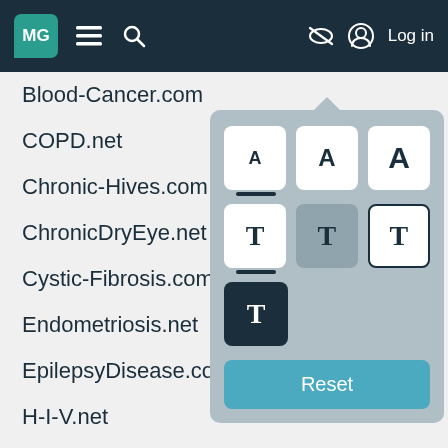MG (logo) | Navigation bar with hamburger menu, search, log in
Blood-Cancer.com
COPD.net
Chronic-Hives.com
ChronicDryEye.net
Cystic-Fibrosis.com
Endometriosis.net
EpilepsyDisease.com
H-I-V.net
HSDisease.com
Heart-Failure.net
HepatitisC.net
InflammatoryBowelDisease.net
[Figure (screenshot): Accessibility font/text settings panel with font size buttons (A small, A medium, A large), text style buttons (T light, T mid, T outline, T dark background), and a Reset button]